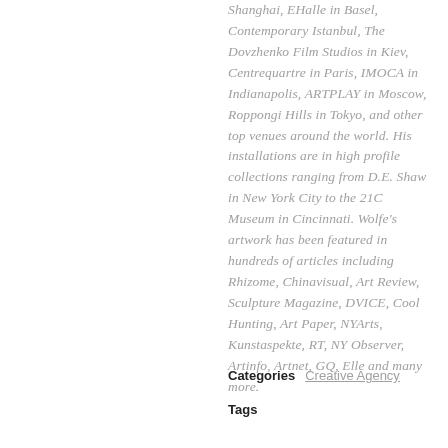Shanghai, EHalle in Basel, Contemporary Istanbul, The Dovzhenko Film Studios in Kiev, Centrequartre in Paris, IMOCA in Indianapolis, ARTPLAY in Moscow, Roppongi Hills in Tokyo, and other top venues around the world. His installations are in high profile collections ranging from D.E. Shaw in New York City to the 21C Museum in Cincinnati. Wolfe's artwork has been featured in hundreds of articles including Rhizome, Chinavisual, Art Review, Sculpture Magazine, DVICE, Cool Hunting, Art Paper, NYArts, Kunstaspekte, RT, NY Observer, Artinfo, Artnet, GQ, Elle and many more.
Categories   Creative Agency
Tags